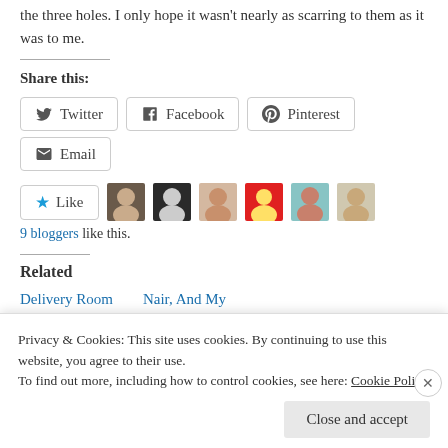the three holes. I only hope it wasn't nearly as scarring to them as it was to me.
Share this:
[Figure (other): Share buttons for Twitter, Facebook, Pinterest, and Email]
[Figure (other): Like button with star icon and 6 blogger avatar thumbnails; text: 9 bloggers like this.]
Related
Delivery Room
Nair, And My
Privacy & Cookies: This site uses cookies. By continuing to use this website, you agree to their use. To find out more, including how to control cookies, see here: Cookie Policy
Close and accept